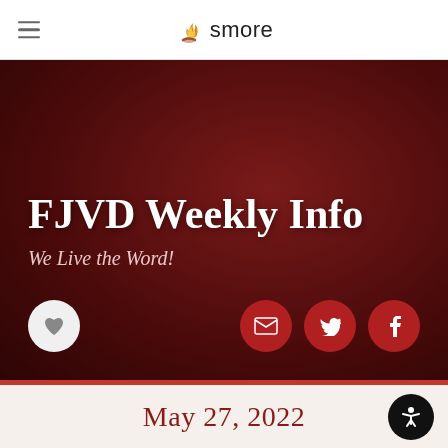smore
FJVD Weekly Info
We Live the Word!
May 27, 2022